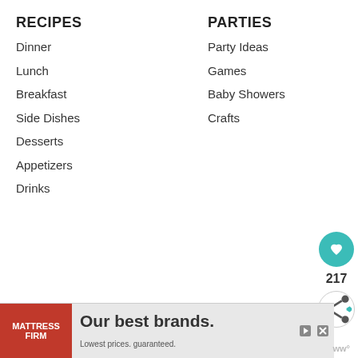RECIPES
Dinner
Lunch
Breakfast
Side Dishes
Desserts
Appetizers
Drinks
PARTIES
Party Ideas
Games
Baby Showers
Crafts
ABOUT
About Our Captain
CONNECT
Facebook
[Figure (infographic): Heart/like button circle (teal) with count 217, and share button circle below it]
[Figure (infographic): Ad banner: Mattress Firm - Our best brands. Lowest prices. guaranteed.]